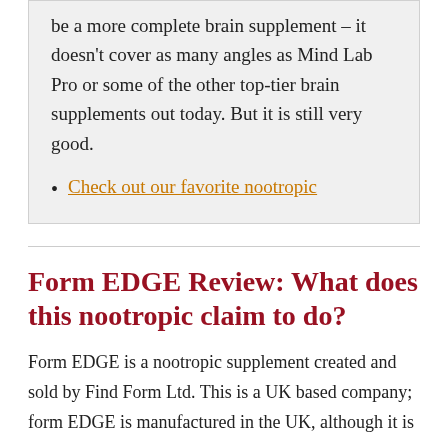be a more complete brain supplement – it doesn't cover as many angles as Mind Lab Pro or some of the other top-tier brain supplements out today. But it is still very good.
Check out our favorite nootropic
Form EDGE Review: What does this nootropic claim to do?
Form EDGE is a nootropic supplement created and sold by Find Form Ltd. This is a UK based company; form EDGE is manufactured in the UK, although it is